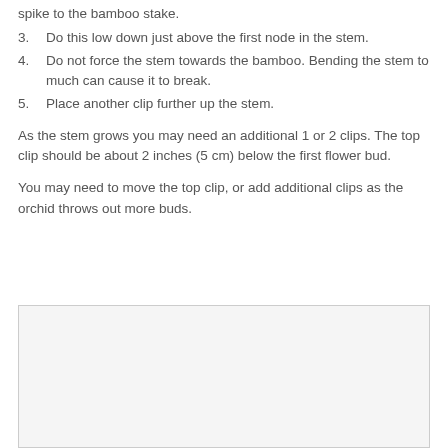spike to the bamboo stake.
3. Do this low down just above the first node in the stem.
4. Do not force the stem towards the bamboo. Bending the stem to much can cause it to break.
5. Place another clip further up the stem.
As the stem grows you may need an additional 1 or 2 clips. The top clip should be about 2 inches (5 cm) below the first flower bud.
You may need to move the top clip, or add additional clips as the orchid throws out more buds.
[Figure (photo): A photo of an orchid plant with bamboo stake and clips (partially visible, cut off at bottom of page)]